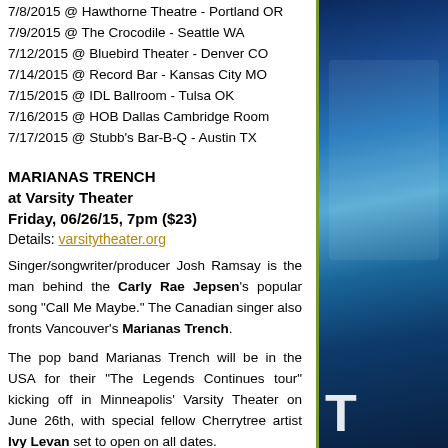7/8/2015 @ Hawthorne Theatre - Portland OR
7/9/2015 @ The Crocodile - Seattle WA
7/12/2015 @ Bluebird Theater - Denver CO
7/14/2015 @ Record Bar - Kansas City MO
7/15/2015 @ IDL Ballroom - Tulsa OK
7/16/2015 @ HOB Dallas Cambridge Room
7/17/2015 @ Stubb's Bar-B-Q - Austin TX
MARIANAS TRENCH
at Varsity Theater
Friday, 06/26/15, 7pm ($23)
Details: varsitytheater.org
Singer/songwriter/producer Josh Ramsay is the man behind the Carly Rae Jepsen's popular song "Call Me Maybe." The Canadian singer also fronts Vancouver's Marianas Trench.
The pop band Marianas Trench will be in the USA for their "The Legends Continues tour" kicking off in Minneapolis' Varsity Theater on June 26th, with special fellow Cherrytree artist Ivy Levan set to open on all dates.
"We're very excited to get back to the U.S.," said Marianas Trench. “During our last tour, we were thrilled to meet so many American Trenchers. Some were brand new to the family and some had been waiting years to see us live. The support was incredible. We can't
[Figure (photo): Blue-toned photo of a person, partially visible on the right side of the page with letter T visible at the bottom]